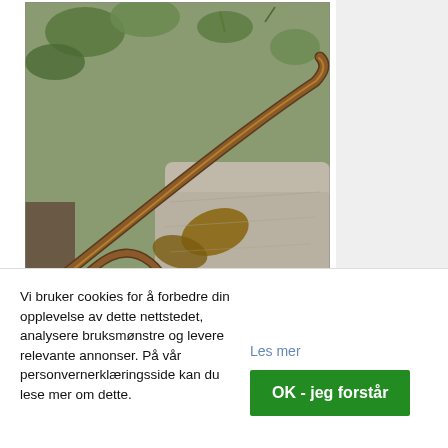[Figure (photo): A slow worm (legless lizard) with brownish coloring and a stripe along its body, resting on rocks and vegetation including green leaves and dry leaves.]
Benny Trapp via Wikicommons, Creative Commons Attribution.
Stålorm, Anguis fragilis
[Figure (photo): Partial view of a second photo showing dry grass/vegetation, presumably another image of Stålorm, Anguis fragilis.]
Vi bruker cookies for å forbedre din opplevelse av dette nettstedet, analysere bruksmønstre og levere relevante annonser. På vår personvernerklæringsside kan du lese mer om dette.
Les mer
OK - jeg forstår